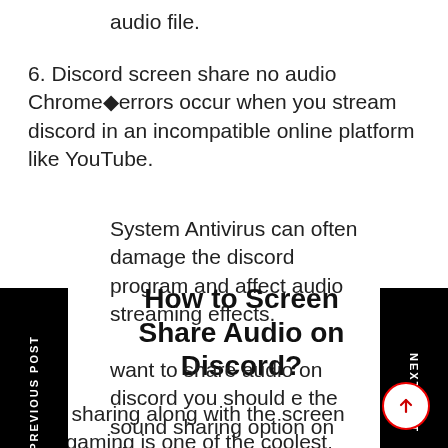audio file.
6. Discord screen share no audio Chrome◆errors occur when you stream discord in an incompatible online platform like YouTube.
System Antivirus can often damage the discord program and affect audio streaming effects.
How to Screen Share Audio on Discord?
want to share audio on discord you should e the sound sharing option on discord very easily, to play alongside the video share option.
Audio sharing along with the screen while gaming is one of the coolest features of Discord.